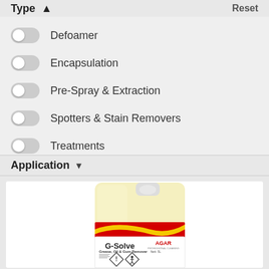Type ▲   Reset
Defoamer
Encapsulation
Pre-Spray & Extraction
Spotters & Stain Removers
Treatments
Application ▼
[Figure (photo): Photo of AGAR G-Solve Grease, Oil & Gum Remover product bottle (5L) with yellow liquid, red/yellow label, and hazard symbols]